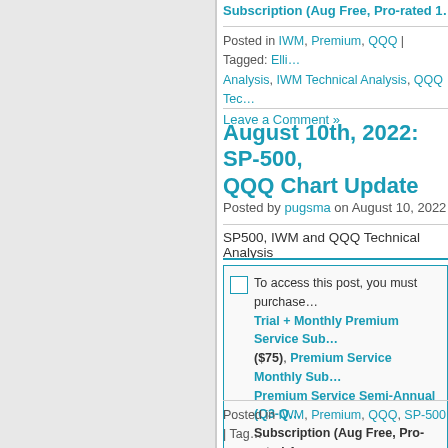Subscription (Aug Free, Pro-rated 1…
Posted in IWM, Premium, QQQ | Tagged: Elliot… Analysis, IWM Technical Analysis, QQQ Tec… Leave a Comment »
August 10th, 2022: SP-500, QQQ Chart Update
Posted by pugsma on August 10, 2022
SP500, IWM and QQQ Technical Analysis
To access this post, you must purchase Trial + Monthly Premium Service Sub… ($75), Premium Service Monthly Sub… Premium Service Semi-Annual (Q3-Q… Subscription (Aug Free, Pro-rated 4… Dec) or Premium Service Quarter 3 (… Subscription (Aug Free, Pro-rated 1…
Posted in IWM, Premium, QQQ, SP-500 | Tagg… Technical Analysis, IWM Technical Analysis… Analysis, SP-500 Technical Analysis | Leave…